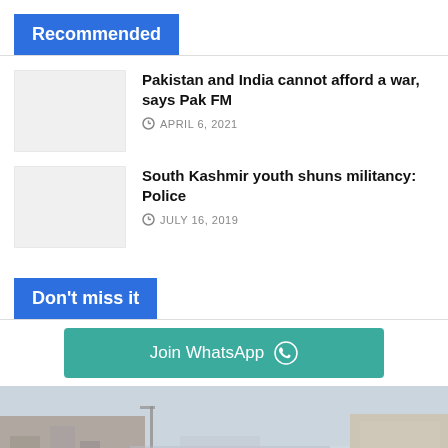Recommended
Pakistan and India cannot afford a war, says Pak FM
APRIL 6, 2021
South Kashmir youth shuns militancy: Police
JULY 16, 2019
Don't miss it
Join WhatsApp
[Figure (photo): Blurred outdoor scene with buildings on left and right, overcast sky in background]